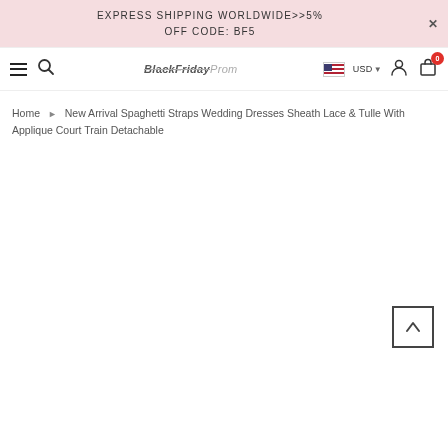EXPRESS SHIPPING WORLDWIDE>>5% OFF CODE: BF5
[Figure (screenshot): Website navigation bar with hamburger menu, search icon, BlackFridayProm logo, US flag with USD currency selector, user account icon, and shopping cart icon with badge showing 0]
Home › New Arrival Spaghetti Straps Wedding Dresses Sheath Lace & Tulle With Applique Court Train Detachable